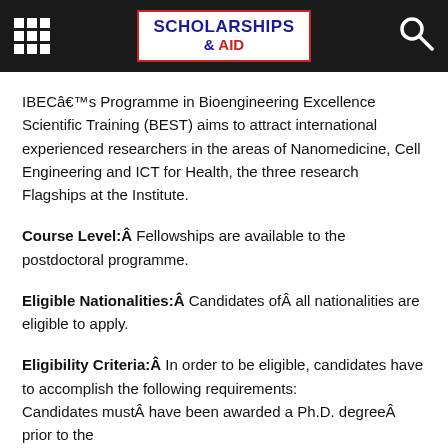SCHOLARSHIPS & AID
IBECâ€™s Programme in Bioengineering Excellence Scientific Training (BEST) aims to attract international experienced researchers in the areas of Nanomedicine, Cell Engineering and ICT for Health, the three research Flagships at the Institute.
Course Level:Â  Fellowships are available to the postdoctoral programme.
Eligible Nationalities:Â  Candidates ofÂ all nationalities are eligible to apply.
Eligibility Criteria:Â  In order to be eligible, candidates have to accomplish the following requirements: Candidates mustÂ have been awarded a Ph.D. degreeÂ prior to the